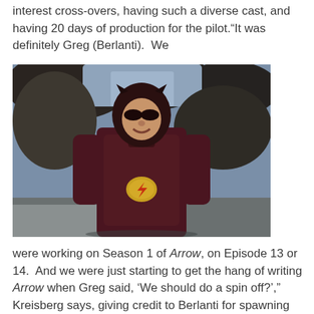interest cross-overs, having such a diverse cast, and having 20 days of production for the pilot.“It was definitely Greg (Berlanti).  We
[Figure (photo): A person wearing The Flash superhero costume (dark red/maroon suit with lightning bolt emblem on chest) standing outdoors with trees in the background.]
were working on Season 1 of Arrow, on Episode 13 or 14.  And we were just starting to get the hang of writing Arrow when Greg said, ‘We should do a spin off?’,” Kreisberg says, giving credit to Berlanti for spawning the idea of doing The Flash.